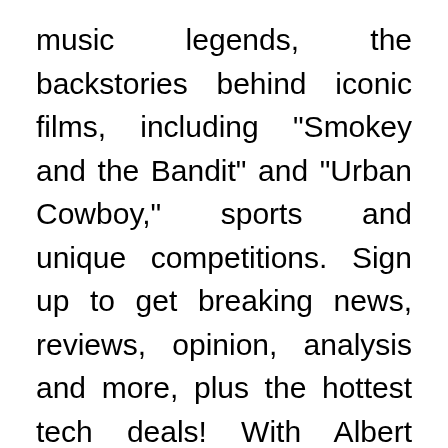music legends, the backstories behind iconic films, including "Smokey and the Bandit" and "Urban Cowboy," sports and unique competitions. Sign up to get breaking news, reviews, opinion, analysis and more, plus the hottest tech deals! With Albert Finney, Matt Keeslar, Victoria Smurfit, Anthony Brophy. Wait for it. The seven-episode first season of Run started in the US on HBO on April 12, 2020. It Is not a waste of time!! This is an incredible coming of age film. A basic Foxtel